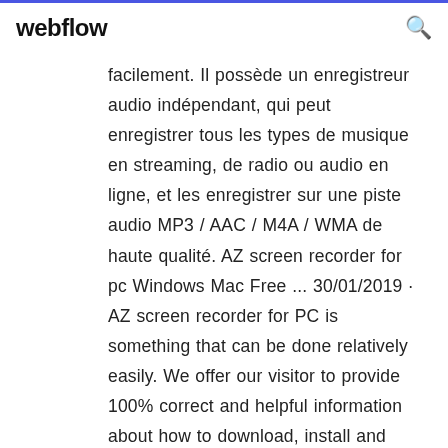webflow
facilement. Il possède un enregistreur audio indépendant, qui peut enregistrer tous les types de musique en streaming, de radio ou audio en ligne, et les enregistrer sur une piste audio MP3 / AAC / M4A / WMA de haute qualité. AZ screen recorder for pc Windows Mac Free ... 30/01/2019 · AZ screen recorder for PC is something that can be done relatively easily. We offer our visitor to provide 100% correct and helpful information about how to download, install and use any software/application on a Windows and Mac computer. Navigation For PC User. How to Download AZ Screen Recorder PC Edition; 2 Steps For Installing on a PC; How to Download